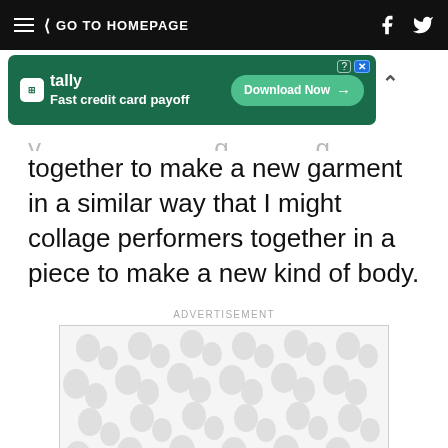GO TO HOMEPAGE
[Figure (infographic): Tally app advertisement banner: 'Fast credit card payoff' with Download Now button]
together to make a new garment in a similar way that I might collage performers together in a piece to make a new kind of body.
ADVERTISEMENT
[Figure (other): Advertisement placeholder with repeating organic blob/peanut shape pattern in light gray on white background]